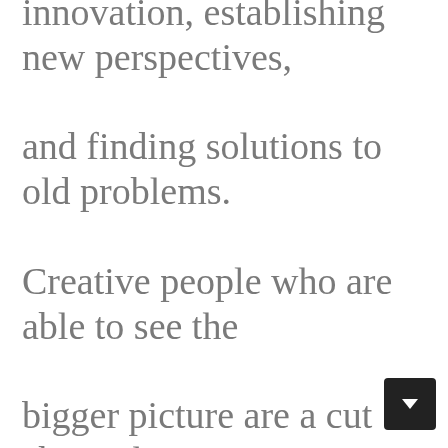innovation, establishing new perspectives, and finding solutions to old problems. Creative people who are able to see the bigger picture are a cut above the competition. In this fast-paced world, creativity is an essential attribute for business leaders to pursue their bold visions. Although creativity is an inexhaustible resource, it can be developed through...